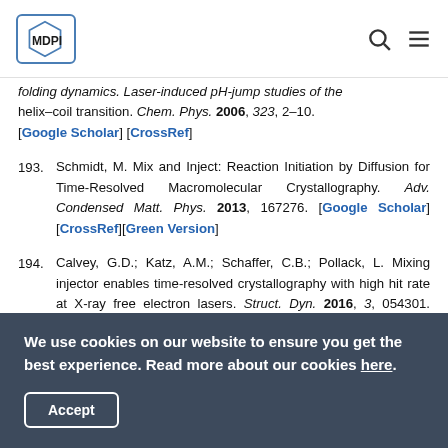MDPI
folding dynamics. Laser-induced pH-jump studies of the helix–coil transition. Chem. Phys. 2006, 323, 2–10. [Google Scholar] [CrossRef]
193. Schmidt, M. Mix and Inject: Reaction Initiation by Diffusion for Time-Resolved Macromolecular Crystallography. Adv. Condensed Matt. Phys. 2013, 167276. [Google Scholar] [CrossRef][Green Version]
194. Calvey, G.D.; Katz, A.M.; Schaffer, C.B.; Pollack, L. Mixing injector enables time-resolved crystallography with high hit rate at X-ray free electron lasers. Struct. Dyn. 2016, 3, 054301. [Google Scholar] [CrossRef][PubMed][Green Version]
We use cookies on our website to ensure you get the best experience. Read more about our cookies here.
Accept